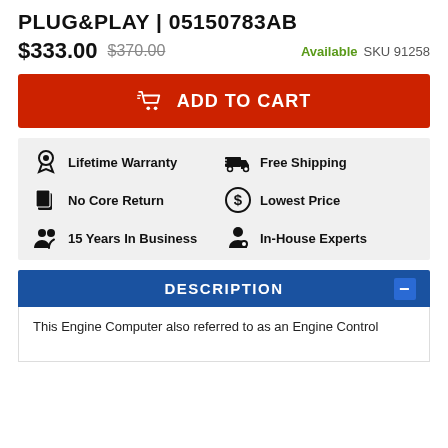PLUG&PLAY | 05150783AB
$333.00  $370.00  Available  SKU 91258
ADD TO CART
Lifetime Warranty  Free Shipping  No Core Return  Lowest Price  15 Years In Business  In-House Experts
DESCRIPTION
This Engine Computer also referred to as an Engine Control